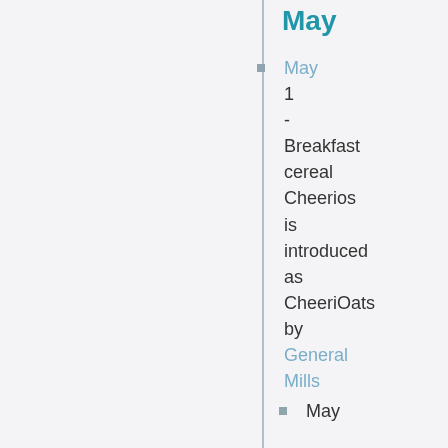May
May 1 - Breakfast cereal Cheerios is introduced as CheeriOats by General Mills
May